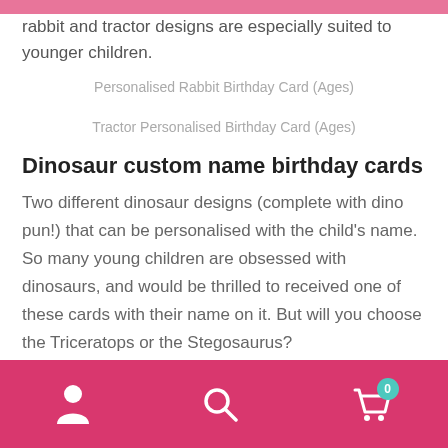rabbit and tractor designs are especially suited to younger children.
Personalised Rabbit Birthday Card (Ages)
Tractor Personalised Birthday Card (Ages)
Dinosaur custom name birthday cards
Two different dinosaur designs (complete with dino pun!) that can be personalised with the child's name. So many young children are obsessed with dinosaurs, and would be thrilled to received one of these cards with their name on it. But will you choose the Triceratops or the Stegosaurus?
Dinosaur Birthday Card (Personalisable) – Triceratops
nav bar with person, search, cart (0) icons